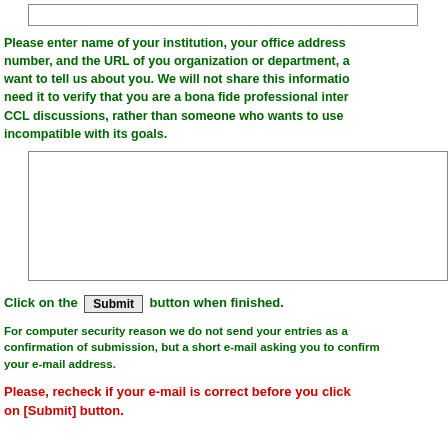[Figure (other): A text input field (empty, white background, rectangular border)]
Please enter name of your institution, your office address number, and the URL of you organization or department, a want to tell us about you. We will not share this informatio need it to verify that you are a bona fide professional inter CCL discussions, rather than someone who wants to use incompatible with its goals.
[Figure (other): A large textarea input field (empty, white background, rectangular border)]
Click on the Submit button when finished.
For computer security reason we do not send your entries as a confirmation of submission, but a short e-mail asking you to confirm your e-mail address.
Please, recheck if your e-mail is correct before you click on [Submit] button.